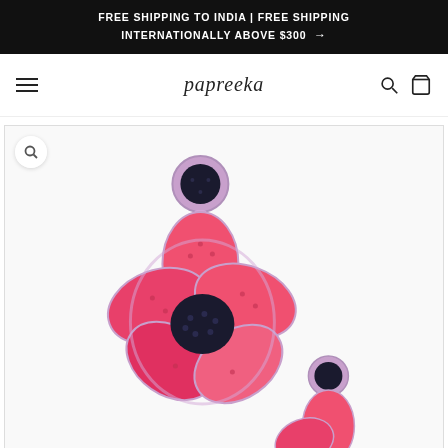FREE SHIPPING TO INDIA | FREE SHIPPING INTERNATIONALLY ABOVE $300 →
papreeka
[Figure (photo): Beaded flower earrings in pink/coral with black accents, displayed as a pair - one larger earring on the left with a circular dark bead top stud and a large five-petal flower body, and a smaller matching earring partially visible on the right.]